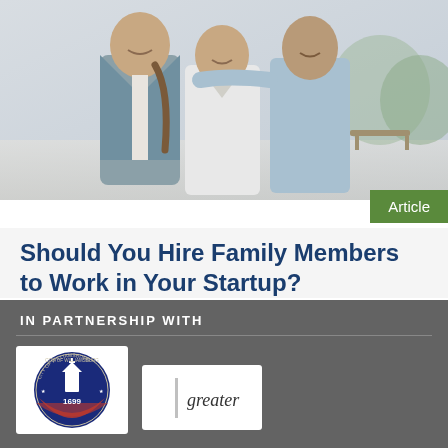[Figure (photo): Three men posing together outdoors, smiling; one wearing a grey blazer with backpack strap, one in a white shirt, one in a light blue shirt. Background shows a park-like setting.]
Article
Should You Hire Family Members to Work in Your Startup?
There are several advantages and potential risks with hiring family members for your startup business. Should you hire family? Read more >
IN PARTNERSHIP WITH
[Figure (logo): City of Williamsburg seal/logo — circular badge with '1699', stars, American flag motif, and church/building silhouette]
[Figure (logo): Greater (organization) logo — white box with text 'greater' in dark lettering with a vertical bar accent]